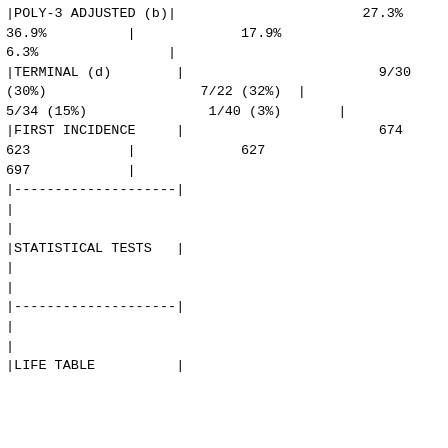|POLY-3 ADJUSTED (b)|                       27.3%
36.9%          |             17.9%
6.3%                |
|TERMINAL (d)        |                        9/30
(30%)                   7/22 (32%)  |
5/34 (15%)               1/40 (3%)       |
|FIRST INCIDENCE     |                        674
623            |             627
697            |
|--------------------|
|
|
|STATISTICAL TESTS   |
|
|
|--------------------|
|
|
|LIFE TABLE          |